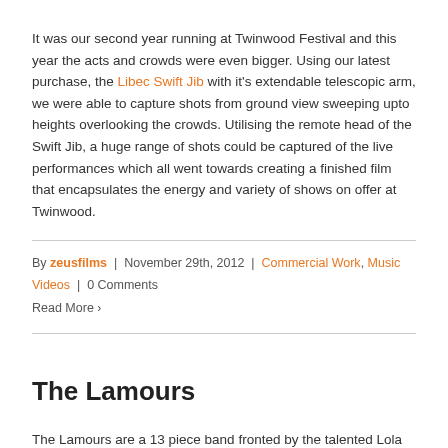It was our second year running at Twinwood Festival and this year the acts and crowds were even bigger. Using our latest purchase, the Libec Swift Jib with it's extendable telescopic arm, we were able to capture shots from ground view sweeping upto heights overlooking the crowds. Utilising the remote head of the Swift Jib, a huge range of shots could be captured of the live performances which all went towards creating a finished film that encapsulates the energy and variety of shows on offer at Twinwood.
By zeusfilms | November 29th, 2012 | Commercial Work, Music Videos | 0 Comments
Read More ›
The Lamours
The Lamours are a 13 piece band fronted by the talented Lola Lamour. Zeus Films were commissioned to film their